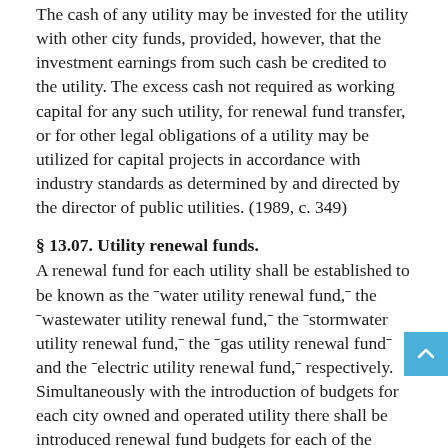The cash of any utility may be invested for the utility with other city funds, provided, however, that the investment earnings from such cash be credited to the utility. The excess cash not required as working capital for any such utility, for renewal fund transfer, or for other legal obligations of a utility may be utilized for capital projects in accordance with industry standards as determined by and directed by the director of public utilities. (1989, c. 349)
§ 13.07. Utility renewal funds.
A renewal fund for each utility shall be established to be known as the "water utility renewal fund," the "wastewater utility renewal fund," the "stormwater utility renewal fund," the "gas utility renewal fund" and the "electric utility renewal fund," respectively. Simultaneously with the introduction of budgets for each city owned and operated utility there shall be introduced renewal fund budgets for each of the utilities utilizing operating cash of the respective utilities for